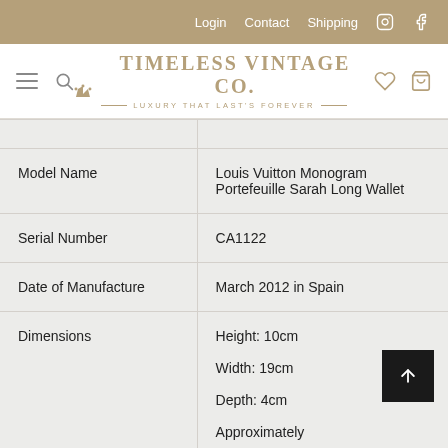Login  Contact  Shipping
[Figure (logo): Timeless Vintage Co. logo with crown icon and tagline: LUXURY THAT LAST'S FOREVER]
|  |  |
| --- | --- |
|  |  |
| Model Name | Louis Vuitton Monogram Portefeuille Sarah Long Wallet |
| Serial Number | CA1122 |
| Date of Manufacture | March 2012 in Spain |
| Dimensions | Height: 10cm
Width: 19cm
Depth: 4cm
Approximately |
| Colour | Classic Brown Monogram with |